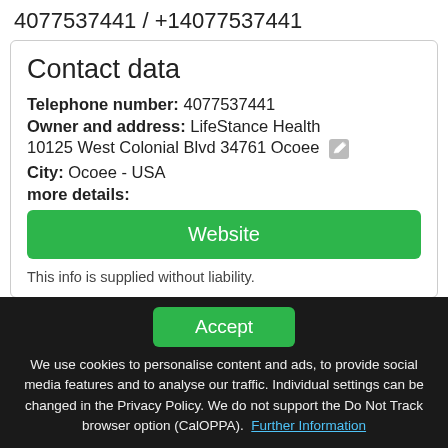4077537441 / +14077537441
Contact data
Telephone number: 4077537441
Owner and address: LifeStance Health 10125 West Colonial Blvd 34761 Ocoee
City: Ocoee - USA
more details:
Website
This info is supplied without liability.
Map view
Accept
We use cookies to personalise content and ads, to provide social media features and to analyse our traffic. Individual settings can be changed in the Privacy Policy. We do not support the Do Not Track browser option (CalOPPA). Further Information